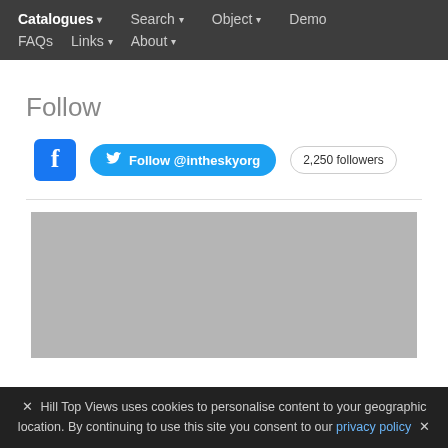Catalogues ▾  Search ▾  Object ▾  Demo  FAQs  Links ▾  About ▾
Follow
[Figure (screenshot): Facebook icon (blue rounded square with white F), Twitter Follow @intheskyorg button (blue pill), and 2,250 followers badge]
[Figure (photo): Gray placeholder image area]
✕ Hill Top Views uses cookies to personalise content to your geographic location. By continuing to use this site you consent to our privacy policy ✕